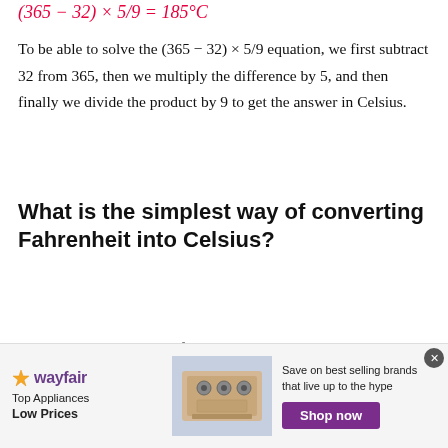To be able to solve the (365 − 32) × 5/9 equation, we first subtract 32 from 365, then we multiply the difference by 5, and then finally we divide the product by 9 to get the answer in Celsius.
What is the simplest way of converting Fahrenheit into Celsius?
The boiling temperature of water in Fahrenheit is 21 and 0 in Celsius. So, the simplest formula to calculate the difference is
[Figure (infographic): Wayfair advertisement banner: Top Appliances Low Prices, with stove image and Shop now button]